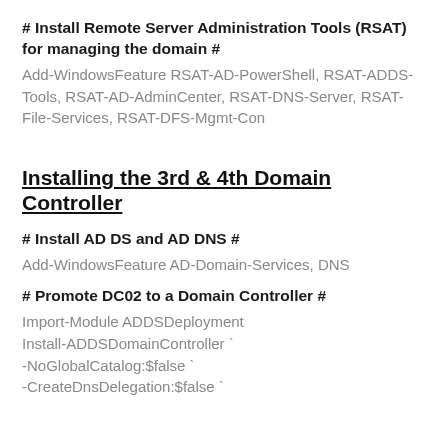# Install Remote Server Administration Tools (RSAT) for managing the domain #
Add-WindowsFeature RSAT-AD-PowerShell, RSAT-ADDS-Tools, RSAT-AD-AdminCenter, RSAT-DNS-Server, RSAT-File-Services, RSAT-DFS-Mgmt-Con
Installing the 3rd & 4th Domain Controller
# Install AD DS and AD DNS #
Add-WindowsFeature AD-Domain-Services, DNS
# Promote DC02 to a Domain Controller #
Import-Module ADDSDeployment
Install-ADDSDomainController `
-NoGlobalCatalog:$false `
-CreateDnsDelegation:$false `